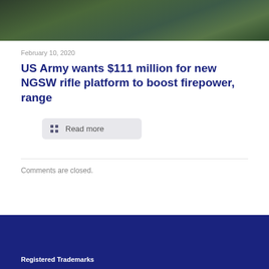[Figure (photo): Dark green military/nature photograph showing what appears to be camouflaged military equipment or foliage]
February 10, 2020
US Army wants $111 million for new NGSW rifle platform to boost firepower, range
Read more
Comments are closed.
Registered Trademarks